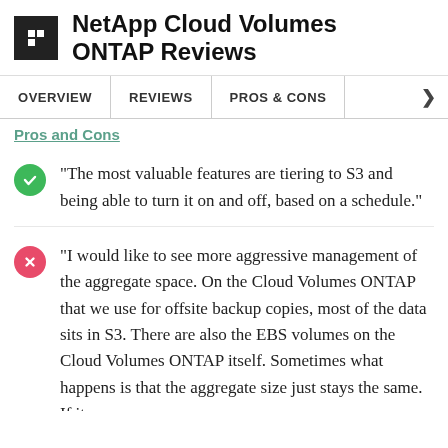NetApp Cloud Volumes ONTAP Reviews
OVERVIEW | REVIEWS | PROS & CONS
Pros and Cons
"The most valuable features are tiering to S3 and being able to turn it on and off, based on a schedule."
"I would like to see more aggressive management of the aggregate space. On the Cloud Volumes ONTAP that we use for offsite backup copies, most of the data sits in S3. There are also the EBS volumes on the Cloud Volumes ONTAP itself. Sometimes what happens is that the aggregate size just stays the same. If it